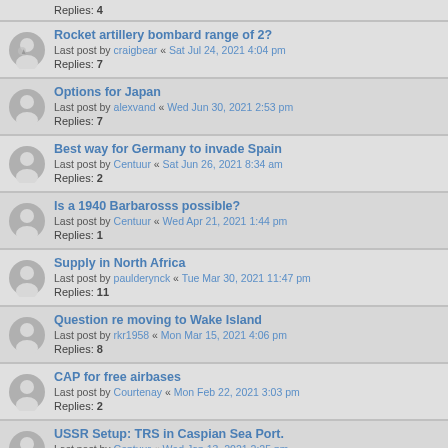Replies: 4
Rocket artillery bombard range of 2? — Last post by craigbear « Sat Jul 24, 2021 4:04 pm — Replies: 7
Options for Japan — Last post by alexvand « Wed Jun 30, 2021 2:53 pm — Replies: 7
Best way for Germany to invade Spain — Last post by Centuur « Sat Jun 26, 2021 8:34 am — Replies: 2
Is a 1940 Barbarosss possible? — Last post by Centuur « Wed Apr 21, 2021 1:44 pm — Replies: 1
Supply in North Africa — Last post by paulderynck « Tue Mar 30, 2021 11:47 pm — Replies: 11
Question re moving to Wake Island — Last post by rkr1958 « Mon Mar 15, 2021 4:06 pm — Replies: 8
CAP for free airbases — Last post by Courtenay « Mon Feb 22, 2021 3:03 pm — Replies: 2
USSR Setup: TRS in Caspian Sea Port. — Last post by Centuur « Wed Jan 13, 2021 2:25 pm — Replies: 6
EXCEL Based 2D10 CRT Calculator. — Last post by rkr1958 « Mon Dec 14, 2020 3:49 pm — Replies: 39